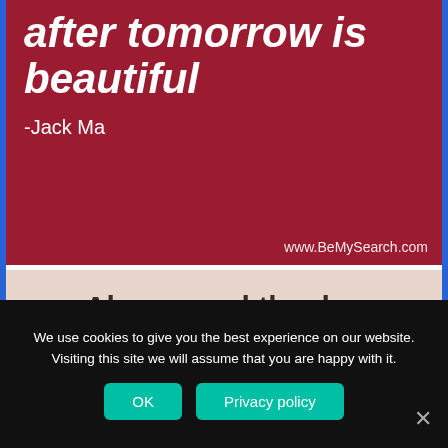[Figure (illustration): Dark red/crimson background with bold italic white text quoting Jack Ma: 'after tomorrow is beautiful' with attribution '-Jack Ma' and website 'www.BeMySearch.com' in bottom right corner.]
[Figure (illustration): Light pink/beige background with dark brown bold text: 'Always end the day with a positive thought.']
We use cookies to give you the best experience on our website. Visiting this site we will assume that you are happy with it.
OK
Privacy policy